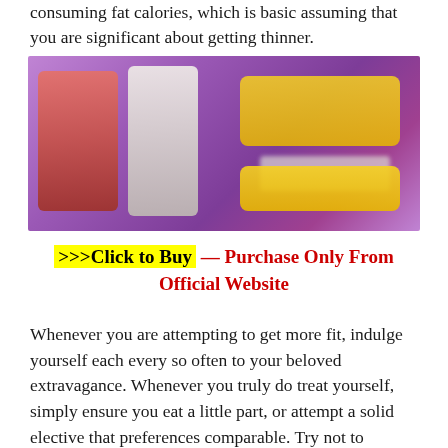consuming fat calories, which is basic assuming that you are significant about getting thinner.
[Figure (photo): Blurred product image showing supplement bottles/containers on a purple background with yellow accents]
>>>Click to Buy — Purchase Only From Official Website
Whenever you are attempting to get more fit, indulge yourself each every so often to your beloved extravagance. Whenever you truly do treat yourself, simply ensure you eat a little part, or attempt a solid elective that preferences comparable. Try not to confine your eating regimen to the